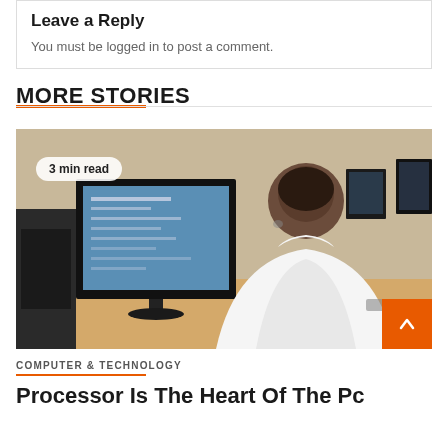Leave a Reply
You must be logged in to post a comment.
MORE STORIES
[Figure (photo): Students in a computer lab, with a person in a white hoodie viewed from behind working at a computer monitor.]
COMPUTER & TECHNOLOGY
Processor Is The Heart Of The Pc